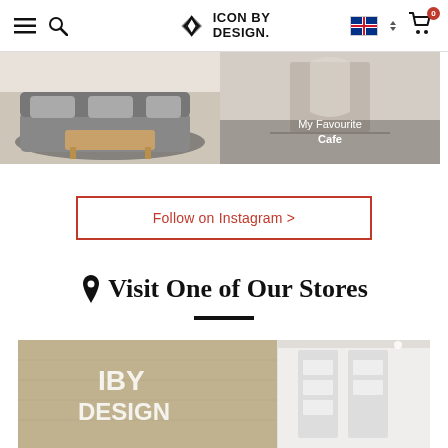Icon by Design — navigation header with menu, search, logo, AU flag, and cart
[Figure (photo): Living room scene with grey sofa, cushions and wooden coffee table on a dark rug]
[Figure (photo): My Favourite Cafe — interior room with soft lighting]
Follow on Instagram >
📍 Visit One of Our Stores
[Figure (photo): Icon by Design physical store interior showing brand signage and white display shelving]